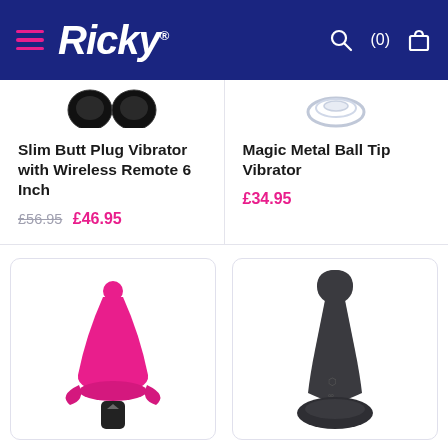Ricky — (0) cart
[Figure (photo): Partial view of black product image (top cropped) - Slim Butt Plug Vibrator with Wireless Remote 6 Inch]
Slim Butt Plug Vibrator with Wireless Remote 6 Inch
£56.95  £46.95
[Figure (photo): Partial view of silver/chrome ring product image (top cropped) - Magic Metal Ball Tip Vibrator]
Magic Metal Ball Tip Vibrator
£34.95
[Figure (photo): Pink silicone butt plug vibrator with black bullet base]
[Figure (photo): Dark grey/black silicone butt plug with suction base]